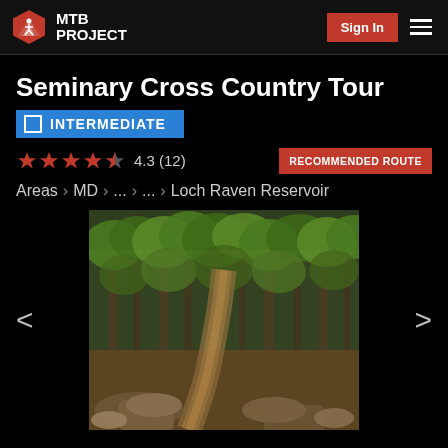MTB PROJECT | Sign In
Seminary Cross Country Tour
INTERMEDIATE
4.3 (12) RECOMMENDED ROUTE
Areas > MD > ... > ... > Loch Raven Reservoir
[Figure (photo): Forest trail photo showing a dirt mountain bike path winding through green leafy trees with rocky terrain in the foreground]